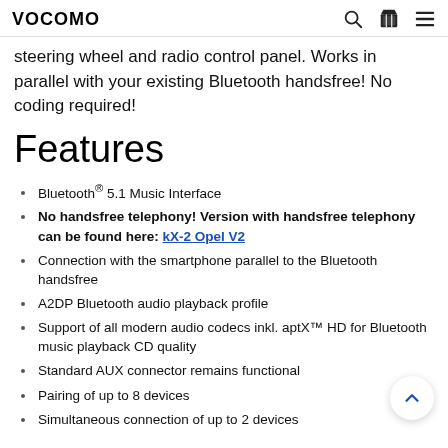VOCOMO
steering wheel and radio control panel. Works in parallel with your existing Bluetooth handsfree! No coding required!
Features
Bluetooth® 5.1 Music Interface
No handsfree telephony! Version with handsfree telephony can be found here: kX-2 Opel V2
Connection with the smartphone parallel to the Bluetooth handsfree
A2DP Bluetooth audio playback profile
Support of all modern audio codecs inkl. aptX™ HD for Bluetooth music playback CD quality
Standard AUX connector remains functional
Pairing of up to 8 devices
Simultaneous connection of up to 2 devices